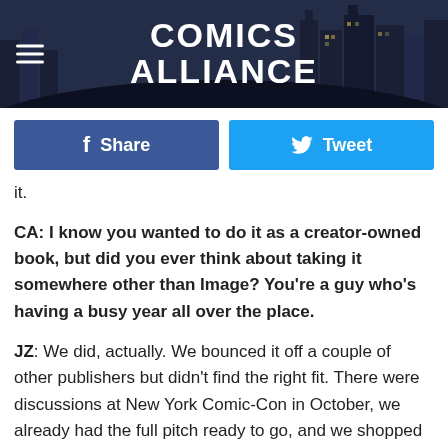[Figure (logo): Comics Alliance website header banner with dark city skyline background and white bold text logo reading COMICS ALLIANCE, with hamburger menu icon on left]
[Figure (other): Two social sharing buttons: blue Facebook Share button and light blue Twitter Tweet button]
it.
CA: I know you wanted to do it as a creator-owned book, but did you ever think about taking it somewhere other than Image? You're a guy who's having a busy year all over the place.
JZ: We did, actually. We bounced it off a couple of other publishers but didn't find the right fit. There were discussions at New York Comic-Con in October, we already had the full pitch ready to go, and we shopped it around a bit. I wanted to see what was out there in terms of possible publishers or deals, and who was looking for what. I didn't want to close